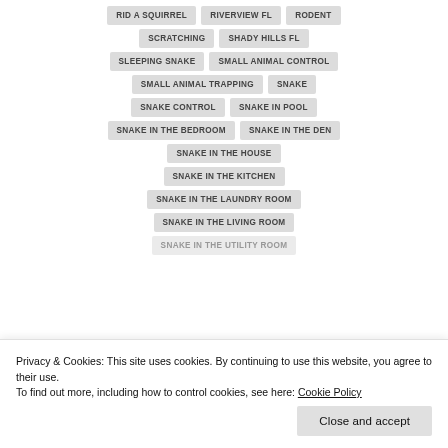RID A SQUIRREL
RIVERVIEW FL
RODENT
SCRATCHING
SHADY HILLS FL
SLEEPING SNAKE
SMALL ANIMAL CONTROL
SMALL ANIMAL TRAPPING
SNAKE
SNAKE CONTROL
SNAKE IN POOL
SNAKE IN THE BEDROOM
SNAKE IN THE DEN
SNAKE IN THE HOUSE
SNAKE IN THE KITCHEN
SNAKE IN THE LAUNDRY ROOM
SNAKE IN THE LIVING ROOM
SNAKE IN THE UTILITY ROOM
Privacy & Cookies: This site uses cookies. By continuing to use this website, you agree to their use.
To find out more, including how to control cookies, see here: Cookie Policy
Close and accept